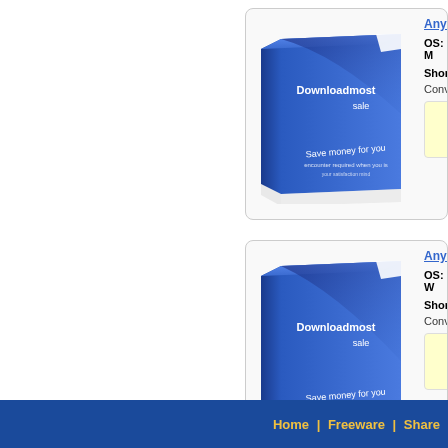[Figure (illustration): Software box product image for Downloadmost sale - blue box with text 'Save money for you' (top card)]
AnyM...
OS: M...
Short...
Conve...
[Figure (illustration): Software box product image for Downloadmost sale - blue box with text 'Save money for you' (bottom card)]
AnyM...
OS: W...
Short...
Conve...
Home | Freeware | Share...